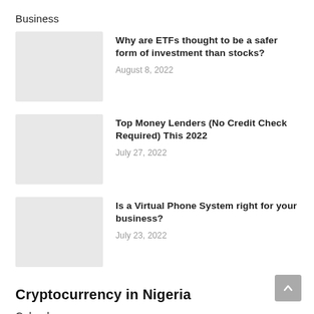Business
Why are ETFs thought to be a safer form of investment than stocks?
August 8, 2022
Top Money Lenders (No Credit Check Required) This 2022
July 27, 2022
Is a Virtual Phone System right for your business?
July 23, 2022
Cryptocurrency in Nigeria
Calendar